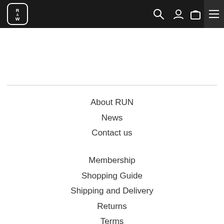R&W logo header navigation
About RUN
News
Contact us
Membership
Shopping Guide
Shipping and Delivery
Returns
Terms